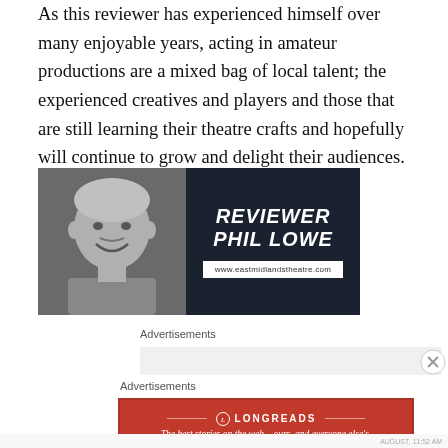As this reviewer has experienced himself over many enjoyable years, acting in amateur productions are a mixed bag of local talent; the experienced creatives and players and those that are still learning their theatre crafts and hopefully will continue to grow and delight their audiences.
[Figure (photo): Black and white photo of reviewer Phil Lowe smiling, on dark background with text 'REVIEWER PHIL LOWE' and website www.eastmidlandstheatre.com]
Advertisements
Advertisements
[Figure (infographic): Longreads advertisement in red: 'The best stories on the web – ours, and everyone else's.']
AUGUST, 11:52 AM